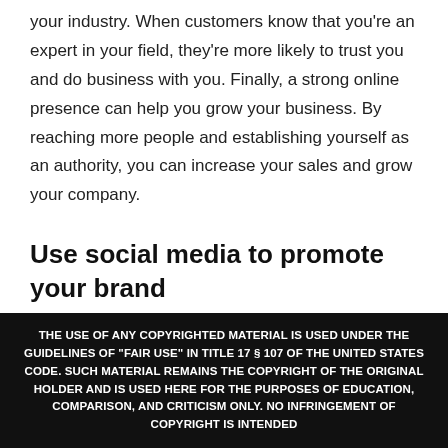your industry. When customers know that you're an expert in your field, they're more likely to trust you and do business with you. Finally, a strong online presence can help you grow your business. By reaching more people and establishing yourself as an authority, you can increase your sales and grow your company.
Use social media to promote your brand
There is no doubt that social media is a powerful
THE USE OF ANY COPYRIGHTED MATERIAL IS USED UNDER THE GUIDELINES OF "FAIR USE" IN TITLE 17 § 107 OF THE UNITED STATES CODE. SUCH MATERIAL REMAINS THE COPYRIGHT OF THE ORIGINAL HOLDER AND IS USED HERE FOR THE PURPOSES OF EDUCATION, COMPARISON, AND CRITICISM ONLY. NO INFRINGEMENT OF COPYRIGHT IS INTENDED